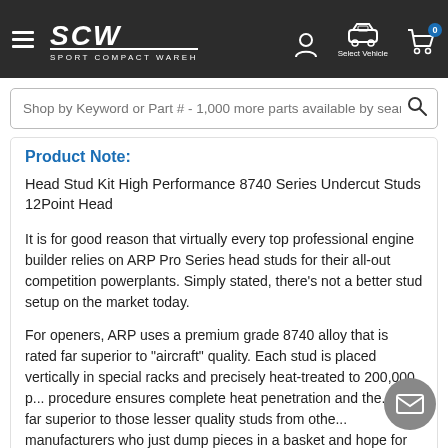[Figure (screenshot): Sport Compact Warehouse navigation bar with hamburger menu, SCW logo, user icon, Select Vehicle icon with car, and shopping cart with badge showing 0]
Shop by Keyword or Part # - 1,000 more parts available by search
Product Note:
Head Stud Kit High Performance 8740 Series Undercut Studs 12Point Head
It is for good reason that virtually every top professional engine builder relies on ARP Pro Series head studs for their all-out competition powerplants. Simply stated, there’s not a better stud setup on the market today.
For openers, ARP uses a premium grade 8740 alloy that is rated far superior to “aircraft” quality. Each stud is placed vertically in special racks and precisely heat-treated to 200,000 p... procedure ensures complete heat penetration and the... are far superior to those lesser quality studs from othe... manufacturers who just dump pieces in a basket and hope for